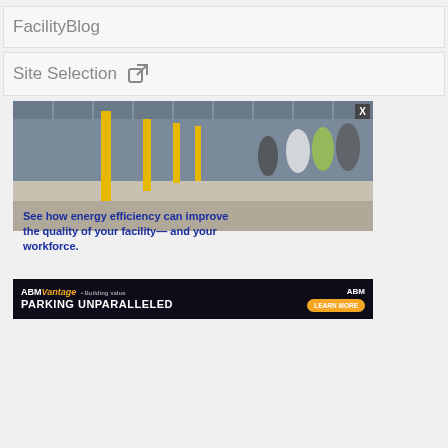FacilityBlog
Site Selection
[Figure (photo): Advertisement showing a warehouse interior with professionals walking, overlaid with text 'See how energy efficiency can improve the quality of your facility— and your workforce.' and a bottom banner for ABM Vantage 'PARKING UNPARALLELED' with a 'LEARN MORE' button.]